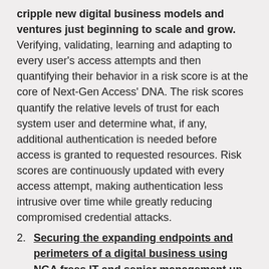cripple new digital business models and ventures just beginning to scale and grow. Verifying, validating, learning and adapting to every user's access attempts and then quantifying their behavior in a risk score is at the core of Next-Gen Access' DNA. The risk scores quantify the relative levels of trust for each system user and determine what, if any, additional authentication is needed before access is granted to requested resources. Risk scores are continuously updated with every access attempt, making authentication less intrusive over time while greatly reducing compromised credential attacks.
2. Securing the expanding endpoints and perimeters of a digital business using NGA frees IT and senior management up to focus more on